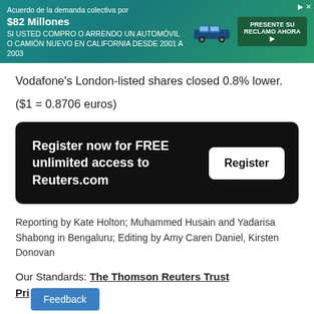[Figure (other): Advertisement banner in Spanish about a class action settlement for $82 million for people who bought or leased a new car or truck in California from 2001 to 2003. Includes a car image and a 'PRESENTE SU RECLAMO AHORA' button.]
Vodafone's London-listed shares closed 0.8% lower.
($1 = 0.8706 euros)
Register now for FREE unlimited access to Reuters.com
Reporting by Kate Holton; Muhammed Husain and Yadarisa Shabong in Bengaluru; Editing by Amy Caren Daniel, Kirsten Donovan
Our Standards: The Thomson Reuters Trust Pri[nciples]
Feedback